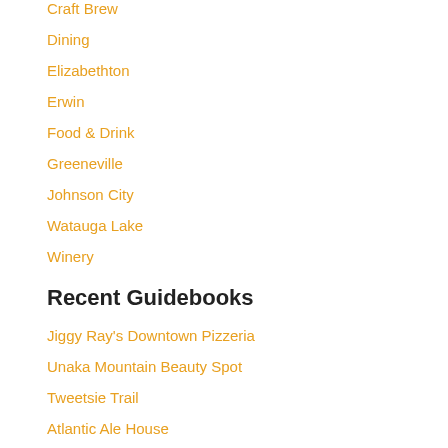Craft Brew
Dining
Elizabethton
Erwin
Food & Drink
Greeneville
Johnson City
Watauga Lake
Winery
Recent Guidebooks
Jiggy Ray's Downtown Pizzeria
Unaka Mountain Beauty Spot
Tweetsie Trail
Atlantic Ale House
Watauga Brewing Company